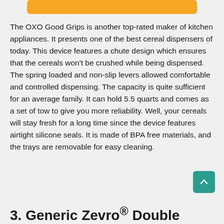[Figure (other): Orange/amber rounded button or bar at the top of the page]
The OXO Good Grips is another top-rated maker of kitchen appliances. It presents one of the best cereal dispensers of today. This device features a chute design which ensures that the cereals won't be crushed while being dispensed. The spring loaded and non-slip levers allowed comfortable and controlled dispensing. The capacity is quite sufficient for an average family. It can hold 5.5 quarts and comes as a set of tow to give you more reliability. Well, your cereals will stay fresh for a long time since the device features airtight silicone seals. It is made of BPA free materials, and the trays are removable for easy cleaning.
3. Generic Zevro® Double